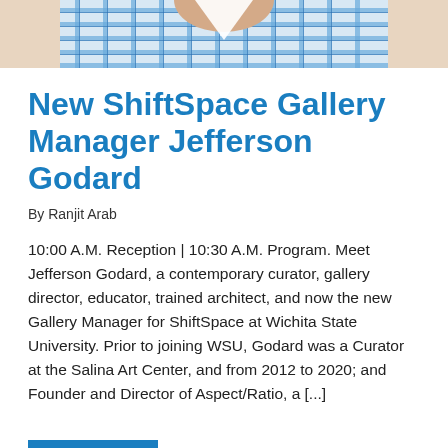[Figure (photo): Cropped photo of a person wearing a blue and white plaid/checkered shirt, showing the lower neck and upper torso area only.]
New ShiftSpace Gallery Manager Jefferson Godard
By Ranjit Arab
10:00 A.M. Reception | 10:30 A.M. Program. Meet Jefferson Godard, a contemporary curator, gallery director, educator, trained architect, and now the new Gallery Manager for ShiftSpace at Wichita State University. Prior to joining WSU, Godard was a Curator at the Salina Art Center, and from 2012 to 2020; and Founder and Director of Aspect/Ratio, a [...]